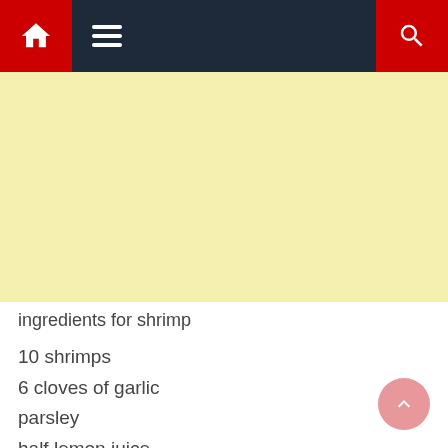Navigation bar with home, menu, and search icons
[Figure (other): Yellow/cream colored banner/advertisement area]
ingredients for shrimp
10 shrimps
6 cloves of garlic
parsley
half lemon juice
gee butter
Way of preparing